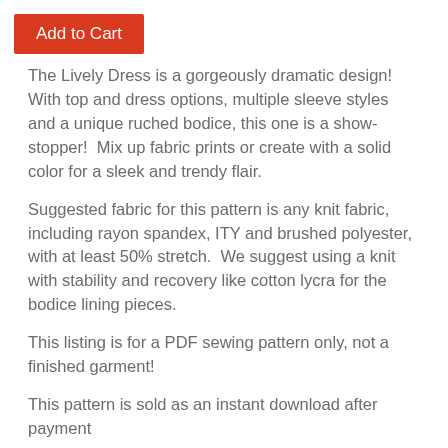[Figure (other): Red 'Add to Cart' button]
The Lively Dress is a gorgeously dramatic design!  With top and dress options, multiple sleeve styles and a unique ruched bodice, this one is a show-stopper!  Mix up fabric prints or create with a solid color for a sleek and trendy flair.
Suggested fabric for this pattern is any knit fabric, including rayon spandex, ITY and brushed polyester, with at least 50% stretch.  We suggest using a knit with stability and recovery like cotton lycra for the bodice lining pieces.
This listing is for a PDF sewing pattern only, not a finished garment!
This pattern is sold as an instant download after payment